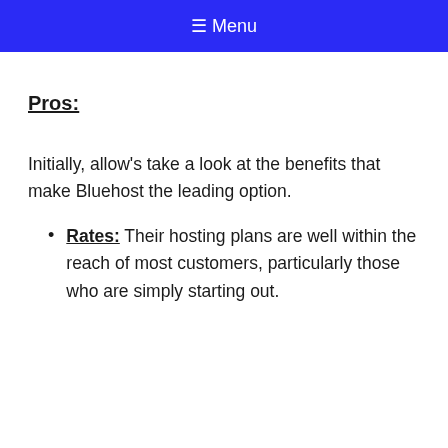≡ Menu
Pros:
Initially, allow's take a look at the benefits that make Bluehost the leading option.
Rates: Their hosting plans are well within the reach of most customers, particularly those who are simply starting out.